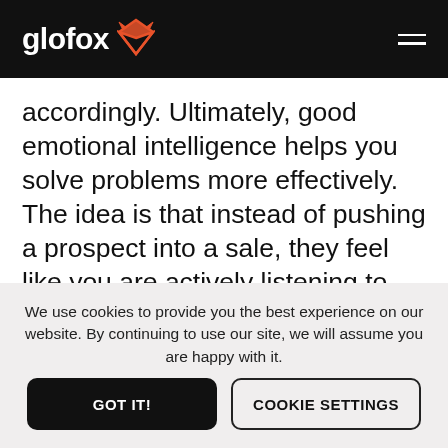glofox
accordingly. Ultimately, good emotional intelligence helps you solve problems more effectively. The idea is that instead of pushing a prospect into a sale, they feel like you are actively listening to their concerns. Emotional intelligence is important in sales,
We use cookies to provide you the best experience on our website. By continuing to use our site, we will assume you are happy with it.
GOT IT!
COOKIE SETTINGS